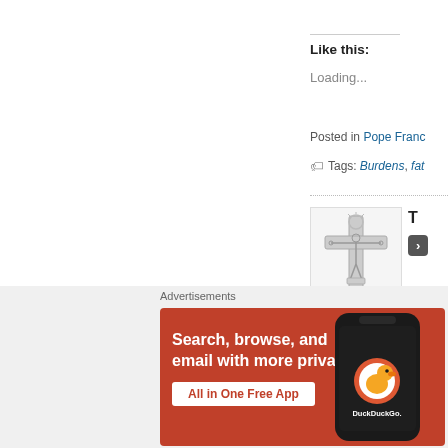Like this:
Loading...
Posted in Pope Franc
Tags: Burdens, fat
[Figure (illustration): Crucifix illustration showing Jesus on a cross with decorative top]
T
Advertisements
[Figure (infographic): DuckDuckGo advertisement: orange background with phone showing DuckDuckGo app. Text: Search, browse, and email with more privacy. All in One Free App]